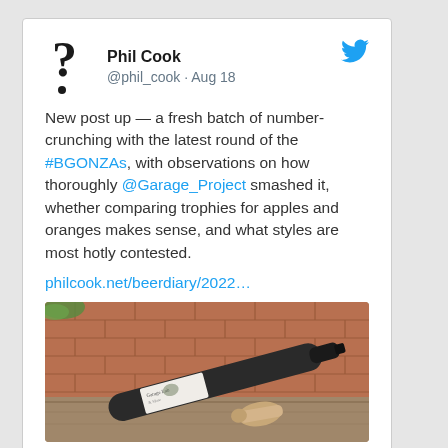[Figure (screenshot): Tweet card from Phil Cook (@phil_cook) posted Aug 18. Contains profile avatar (question mark icon), display name, handle, Twitter bird logo, tweet text about BGONZAs beer competition analysis and Garage Project, a link to philcook.net/beerdiary/2022..., and a photo of a wine/beer bottle lying on its side next to a cork on a wooden surface against a brick wall background. Actions row shows comment and 3 likes icons.]